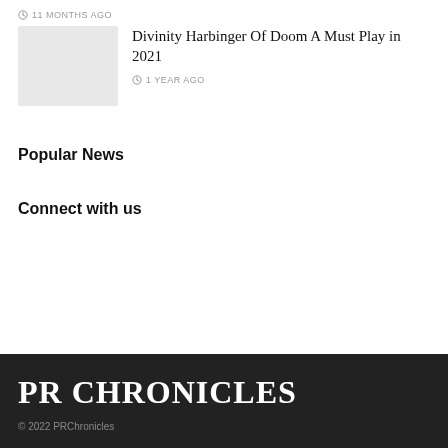11 MONTHS AGO
[Figure (photo): Thumbnail image placeholder (light gray rectangle)]
Divinity Harbinger Of Doom A Must Play in 2021
1 YEAR AGO
Popular News
Connect with us
PR CHRONICLES
© 2022 PRChronicles